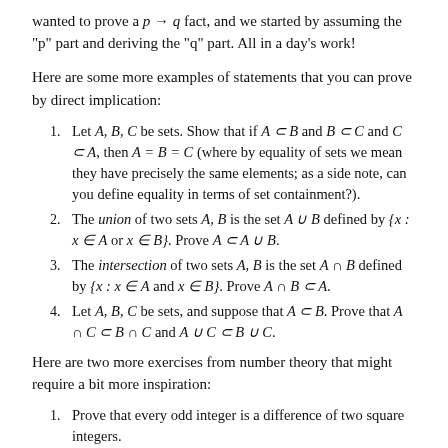wanted to prove a p → q fact, and we started by assuming the "p" part and deriving the "q" part. All in a day's work!
Here are some more examples of statements that you can prove by direct implication:
1. Let A, B, C be sets. Show that if A ⊂ B and B ⊂ C and C ⊂ A, then A = B = C (where by equality of sets we mean they have precisely the same elements; as a side note, can you define equality in terms of set containment?).
2. The union of two sets A, B is the set A ∪ B defined by {x : x ∈ A or x ∈ B}. Prove A ⊂ A ∪ B.
3. The intersection of two sets A, B is the set A ∩ B defined by {x : x ∈ A and x ∈ B}. Prove A ∩ B ⊂ A.
4. Let A, B, C be sets, and suppose that A ⊂ B. Prove that A ∩ C ⊂ B ∩ C and A ∪ C ⊂ B ∪ C.
Here are two more exercises from number theory that might require a bit more inspiration:
1. Prove that every odd integer is a difference of two square integers.